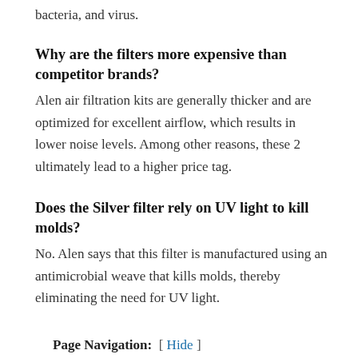bacteria, and virus.
Why are the filters more expensive than competitor brands?
Alen air filtration kits are generally thicker and are optimized for excellent airflow, which results in lower noise levels. Among other reasons, these 2 ultimately lead to a higher price tag.
Does the Silver filter rely on UV light to kill molds?
No. Alen says that this filter is manufactured using an antimicrobial weave that kills molds, thereby eliminating the need for UV light.
Page Navigation:  [ Hide ]